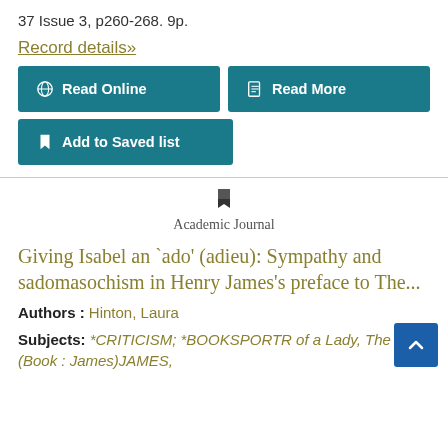37 Issue 3, p260-268. 9p.
Record details»
Read Online
Read More
Add to Saved list
Academic Journal
Giving Isabel an `ado' (adieu): Sympathy and sadomasochism in Henry James's preface to The...
Authors : Hinton, Laura
Subjects: *CRITICISM; *BOOKSPORTR of a Lady, The (Book : James)JAMES,